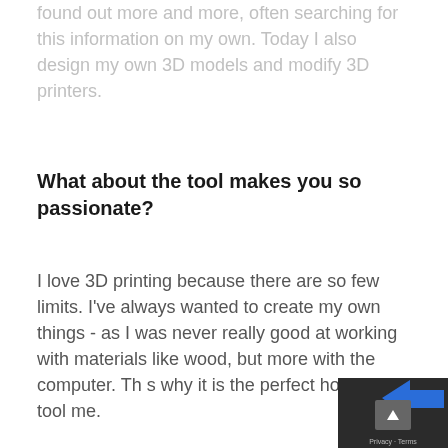found out more and more, often searching for this information on my own. Today I also design my own 3D models and modify 3D printers.
What about the tool makes you so passionate?
I love 3D printing because there are so few limits. I've always wanted to create my own things - as I was never really good at working with materials like wood, but more with the computer. Th s why it is the perfect hobby and tool me.